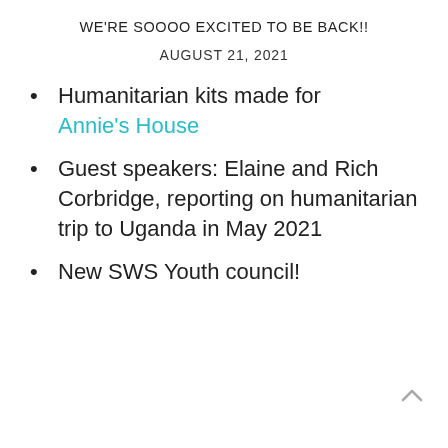WE'RE SOOOO EXCITED TO BE BACK!!
AUGUST 21, 2021
Humanitarian kits made for Annie's House
Guest speakers: Elaine and Rich Corbridge, reporting on humanitarian trip to Uganda in May 2021
New SWS Youth council!